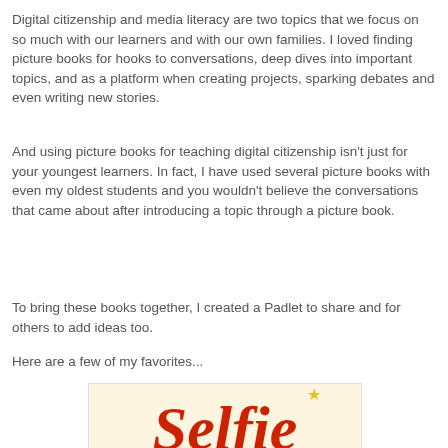Digital citizenship and media literacy are two topics that we focus on so much with our learners and with our own families. I loved finding picture books for hooks to conversations, deep dives into important topics, and as a platform when creating projects, sparking debates and even writing new stories.
And using picture books for teaching digital citizenship isn't just for your youngest learners. In fact, I have used several picture books with even my oldest students and you wouldn't believe the conversations that came about after introducing a topic through a picture book.
To bring these books together, I created a Padlet to share and for others to add ideas too.
Here are a few of my favorites...
[Figure (illustration): Book cover showing the word 'Selfie' in large red italic script with a small yellow star, on a cream/light yellow background. Partially cropped at the bottom of the page.]